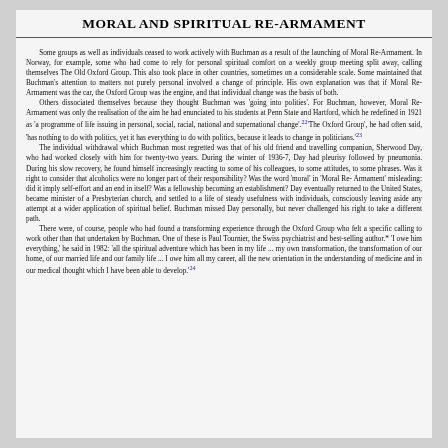MORAL AND SPIRITUAL RE-ARMAMENT
Some groups as well as individuals ceased to work actively with Buchman as a result of the launching of Moral Re-Armament. In Norway, for example, some who had come to rely for personal spiritual comfort on a weekly group meeting split away, calling themselves The Old Oxford Group. This also took place in other countries, sometimes on a considerable scale. Some maintained that Buchman's attention to matters not purely personal involved a change of principle. His own explanation was that if Moral Re-Armament was the car, the Oxford Group was the engine, and that individual change was the basis of both.
Others dissociated themselves because they thought Buchman was 'going into polities'. For Buchman, however, Moral Re-Armament was only the realisation of the aim he had enunciated to his students at Penn State and Hartford, which he redefined in 1921 as 'a programme of life issuing in personal, social, racial, national and supernational change'.22'The Oxford Group', he had often said, 'has nothing to do with politics, yet it has everything to do with politics, because it leads to change in politicians.'23
The individual withdrawal which Buchman most regretted was that of his old friend and travelling companion, Sherwood Day, who had worked closely with him for twenty-two years. During the winter of 1936-7, Day had pleurisy followed by pneumonia. During his slow recovery, he found himself increasingly reacting to some of his colleagues, to some attitudes, to some phrases. Was it right to consider that alcoholics were no longer part of their responsibility? Was the word 'moral' in 'Moral Re- Armament' misleading: did it imply self-effort and an end in itself? Was a fellowship becoming an establishment? Day eventually returned to the United States, became minister of a Presbyterian church, and settled to a life of steady usefulness with individuals, consciously leaving aside any attempt at a wider application of spiritual belief. Buchman missed Day personally, but never challenged his right to take a different path.
There were, of course, people who had found a transforming experience through the Oxford Group who felt a specific calling to work other than that undertaken by Buchman. One of these is Paul Tournier, the Swiss psychiatrist and best-selling author.* 'I owe him everything,' he said in 1982: 'all the spiritual adventure which has been in my life ... my own transformation, the transformation of our home, of our married life and our family life ... I owe him all my career, all the new orientation in the understanding of medicine and in our medical thought which I have been able to develop.'24